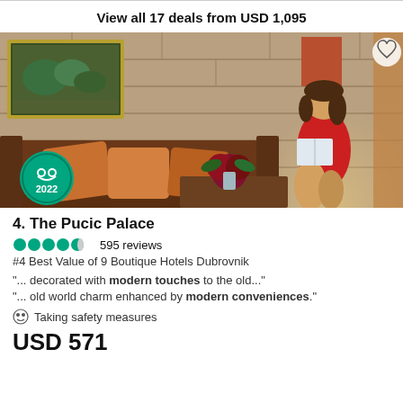View all 17 deals from USD 1,095
[Figure (photo): Hotel lobby photo showing a woman in a red dress sitting on a brown sofa reading a book, with decorative pillows, a painting on the stone wall, and a lamp. TripAdvisor 2022 badge visible in lower left corner.]
4. The Pucic Palace
595 reviews
#4 Best Value of 9 Boutique Hotels Dubrovnik
"... decorated with modern touches to the old..."
"... old world charm enhanced by modern conveniences."
Taking safety measures
USD 571